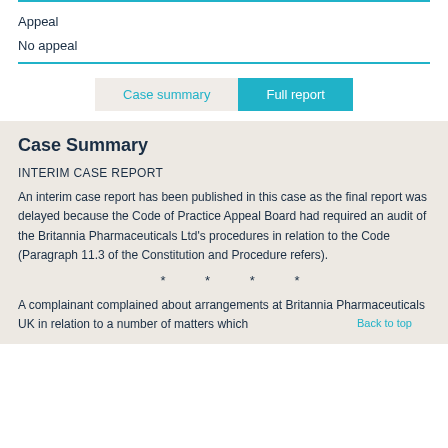Appeal
No appeal
Case summary | Full report
Case Summary
INTERIM CASE REPORT
An interim case report has been published in this case as the final report was delayed because the Code of Practice Appeal Board had required an audit of the Britannia Pharmaceuticals Ltd's procedures in relation to the Code (Paragraph 11.3 of the Constitution and Procedure refers).
* * * *
A complainant complained about arrangements at Britannia Pharmaceuticals UK in relation to a number of matters which